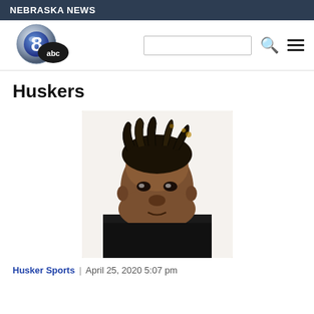NEBRASKA NEWS
[Figure (logo): KETV Channel 8 ABC logo — blue and silver spherical 8 with black ABC badge]
Huskers
[Figure (photo): Headshot of a young Black male athlete wearing a black shirt, with dreadlocks, against a white background]
Husker Sports | April 25, 2020 5:07 pm